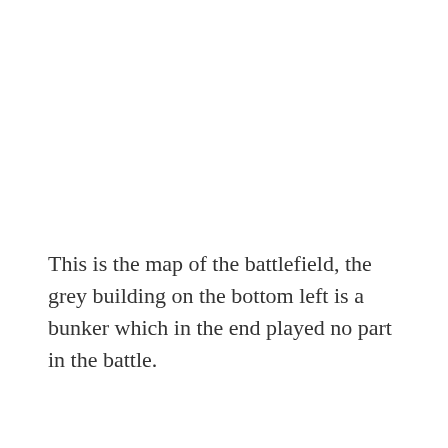This is the map of the battlefield, the grey building on the bottom left is a bunker which in the end played no part in the battle.